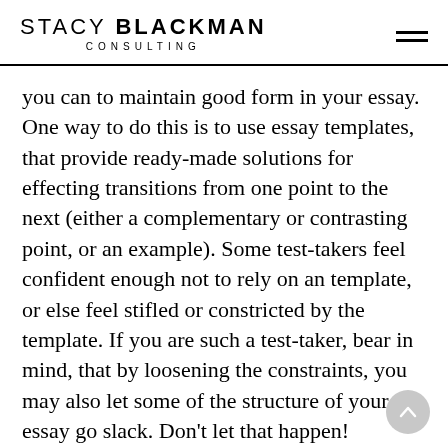STACY BLACKMAN CONSULTING
you can to maintain good form in your essay. One way to do this is to use essay templates, that provide ready-made solutions for effecting transitions from one point to the next (either a complementary or contrasting point, or an example). Some test-takers feel confident enough not to rely on an template, or else feel stifled or constricted by the template. If you are such a test-taker, bear in mind, that by loosening the constraints, you may also let some of the structure of your essay go slack. Don't let that happen!